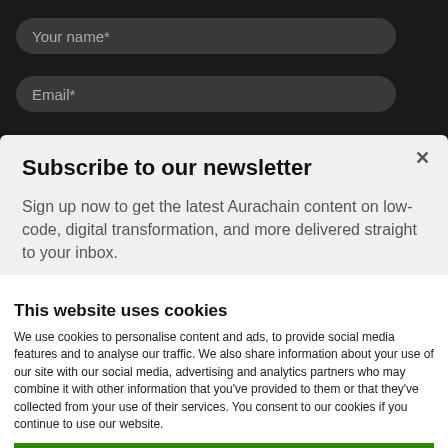[Figure (screenshot): Dark background with two rounded input fields: 'Your name*' and 'Email*']
Subscribe to our newsletter
Sign up now to get the latest Aurachain content on low-code, digital transformation, and more delivered straight to your inbox.
This website uses cookies
We use cookies to personalise content and ads, to provide social media features and to analyse our traffic. We also share information about your use of our site with our social media, advertising and analytics partners who may combine it with other information that you've provided to them or that they've collected from your use of their services. You consent to our cookies if you continue to use our website.
OK
Necessary  Preferences  Statistics  Marketing  Show details